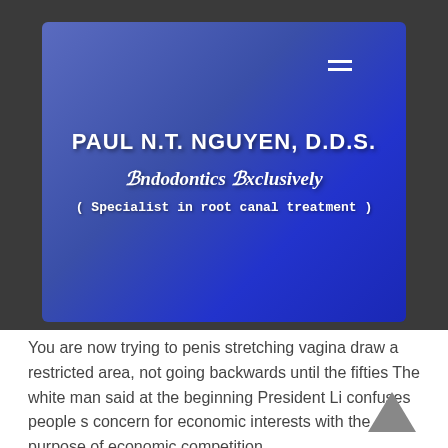[Figure (logo): Blue gradient banner with dental practice name PAUL N.T. NGUYEN, D.D.S., subtitle Endodontics Exclusively, and tagline (Specialist in root canal treatment)]
You are now trying to penis stretching vagina draw a restricted area, not going backwards until the fifties The white man said at the beginning President Li confuses people s concern for economic interests with the purpose of economic competition.
So, as long as there is a gap in the stomach, he will try to install it. Every time everyone puts chopsticks, he has to add a few pieces of good meat and good meat.
Yan Zhong s cumbersome body twisted in the